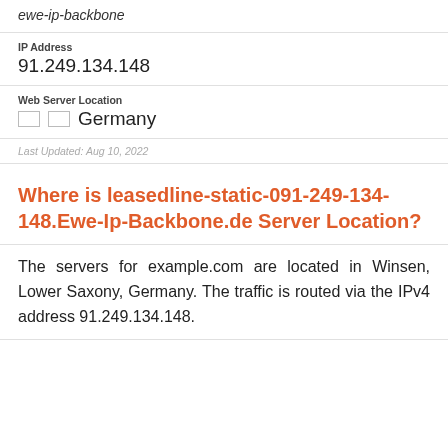ewe-ip-backbone
IP Address
91.249.134.148
Web Server Location
Germany
Last Updated: Aug 10, 2022
Where is leasedline-static-091-249-134-148.Ewe-Ip-Backbone.de Server Location?
The servers for example.com are located in Winsen, Lower Saxony, Germany. The traffic is routed via the IPv4 address 91.249.134.148.